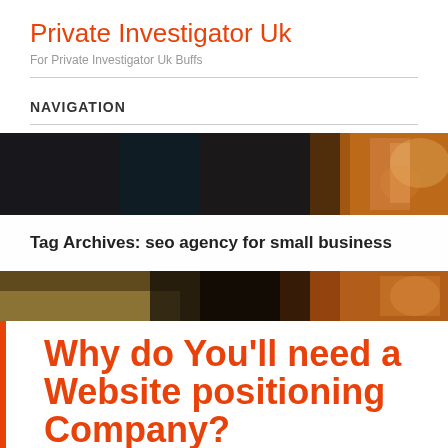Private Investigator Uk
For Private Investigator Uk Buffs
NAVIGATION
[Figure (photo): Dark blurred background photo with amber/orange drink glass on right side]
Tag Archives: seo agency for small business
[Figure (photo): Blurred food and amber drink photo background]
Why do You'll need a Website positioning Company?